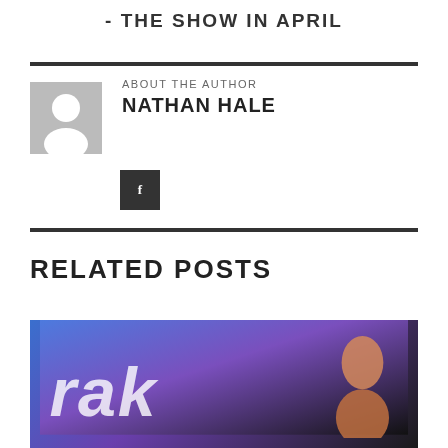- THE SHOW IN APRIL
ABOUT THE AUTHOR
NATHAN HALE
[Figure (other): Author avatar placeholder with person silhouette icon]
[Figure (other): Dark square social media button with letter f icon]
RELATED POSTS
[Figure (photo): Photo with blue/purple background showing partial text starting with 'rak' and a person visible at right edge]